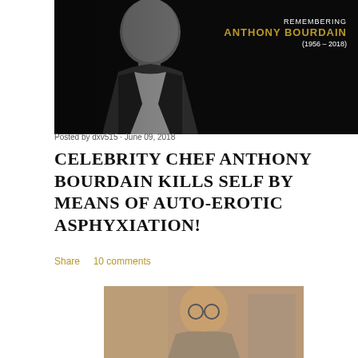[Figure (photo): Black and white photo of Anthony Bourdain with 'Remembering Anthony Bourdain (1956–2018)' text overlay on dark background]
Posted by dxv515 · June 09, 2018
CELEBRITY CHEF ANTHONY BOURDAIN KILLS SELF BY MEANS OF AUTO-EROTIC ASPHYXIATION!
Share    10 comments
[Figure (photo): Color photo of an elderly person with glasses]